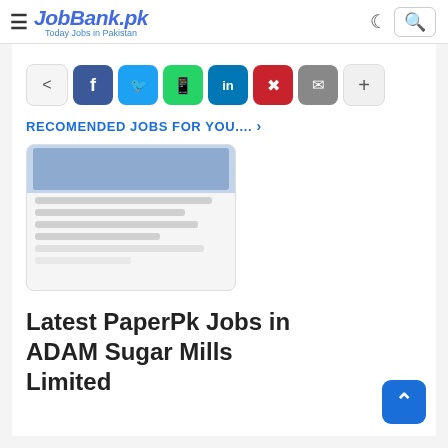JobBank.pk — Today Jobs in Pakistan
[Figure (screenshot): Social media share buttons: share icon, Facebook, Twitter, WhatsApp, LinkedIn, Pinterest, Email, More (+)]
RECOMENDED JOBS FOR YOU.... >
[Figure (photo): Job listing image placeholder with blurred/loading content showing a job advertisement card]
Latest PaperPk Jobs in ADAM Sugar Mills Limited